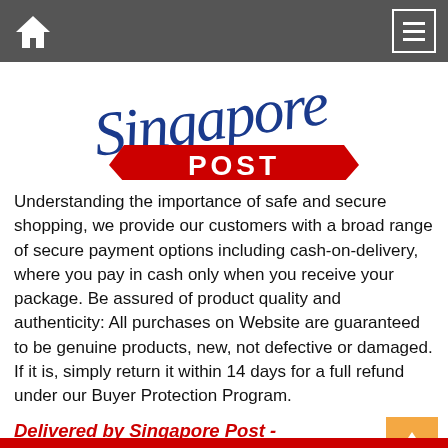[Figure (logo): Singapore Post logo: cursive blue 'Singapore' text above a red banner with white 'POST' text]
Understanding the importance of safe and secure shopping, we provide our customers with a broad range of secure payment options including cash-on-delivery, where you pay in cash only when you receive your package. Be assured of product quality and authenticity: All purchases on Website are guaranteed to be genuine products, new, not defective or damaged. If it is, simply return it within 14 days for a full refund under our Buyer Protection Program.
Delivered by Singapore Post - Nationwide Sales - Payment Upon Delivery - Free Returns